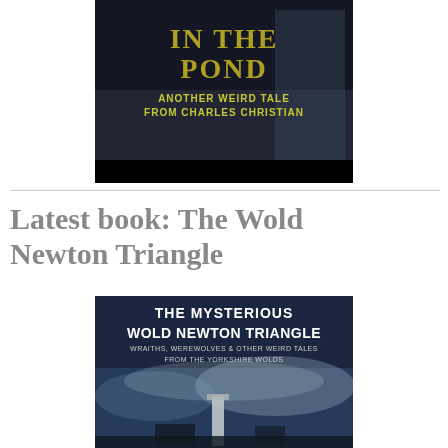[Figure (illustration): Book cover showing 'IN THE POND' with subtitle 'ANOTHER WEIRD TALE FROM CHARLES CHRISTIAN' on a dark atmospheric background with figures]
Latest book: The Wold Newton Triangle
[Figure (illustration): Book cover for 'THE MYSTERIOUS WOLD NEWTON TRIANGLE: WRAITHS, WEREWOLVES & OTHER WEIRD TALES FROM THE YORKSHIRE WOLDS' showing a dark blue/navy background with white text in the upper portion and a dramatic stormy sky with a standing stone monument in the lower portion]